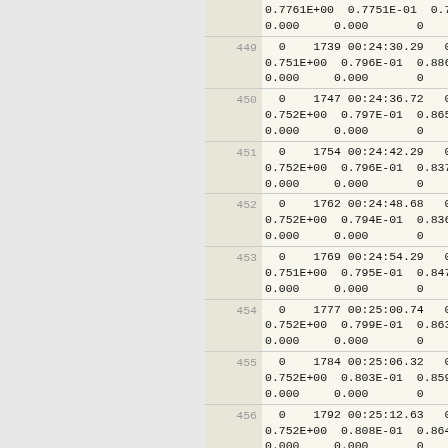| row | data |
| --- | --- |
|  | 0.7761E+00  0.7751E-01  0.7866E-03
0.000    0.000       0 |
| 449 | 0  1739 00:24:30.29  0.8040A
0.751E+00  0.796E-01  0.886E-03
0.000    0.000       0 |
| 450 | 0  1747 00:24:36.72  0.8000A
0.752E+00  0.797E-01  0.865E-03
0.000    0.000       0 |
| 451 | 0  1754 00:24:42.29  0.7960A
0.752E+00  0.796E-01  0.837E-03
0.000    0.000       0 |
| 452 | 0  1762 00:24:48.68  0.7970A
0.752E+00  0.794E-01  0.836E-03
0.000    0.000       0 |
| 453 | 0  1769 00:24:54.29  0.8010A
0.751E+00  0.795E-01  0.847E-03
0.000    0.000       0 |
| 454 | 0  1777 00:25:00.74  0.8040A
0.752E+00  0.799E-01  0.863E-03
0.000    0.000       0 |
| 455 | 0  1784 00:25:06.32  0.7900A
0.752E+00  0.803E-01  0.859E-03
0.000    0.000       0 |
| 456 | 0  1792 00:25:12.63  0.7860A
0.752E+00  0.808E-01  0.864E-03
0.000    0.000       0 |
| 457 | 0  1799 00:25:18.14  0.7830A
0.753E+00  0.814E-01  0.870E-03
0.000    0.000       0 |
| 458 | 0  1807 00:25:24.42  0.7830A
0.754E+00  0.823E-01  0.901E-03
0.000    0.000       0 |
| 459 | 0  1815 00:25:30.72  0.7870A
0.755E+00  0.831E-01  0.935E-03
0.000    0.000       0 |
| 460 | 0  1822 00:25:36.29  0.8020A |